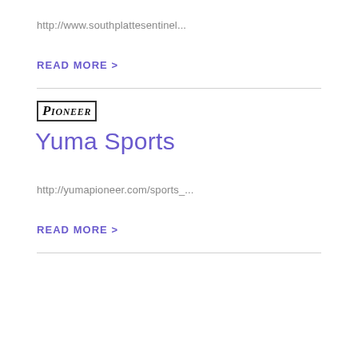http://www.southplattesentinel...
READ MORE >
[Figure (logo): Pioneer newspaper logo in blackletter/gothic style with border]
Yuma Sports
http://yumapioneer.com/sports_...
READ MORE >